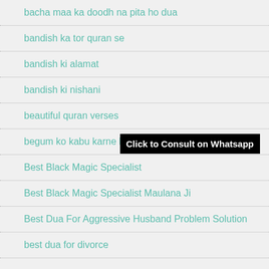bacha maa ka doodh na pita ho dua
bandish ka tor quran se
bandish ki alamat
bandish ki nishani
beautiful quran verses
begum ko kabu karne ka wazifa
Best Black Magic Specialist
Best Black Magic Specialist Maulana Ji
Best Dua For Aggressive Husband Problem Solution
best dua for divorce